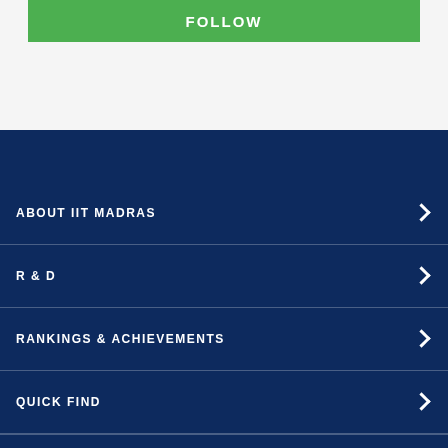FOLLOW
ABOUT IIT MADRAS
R & D
RANKINGS & ACHIEVEMENTS
QUICK FIND
POWERED BY